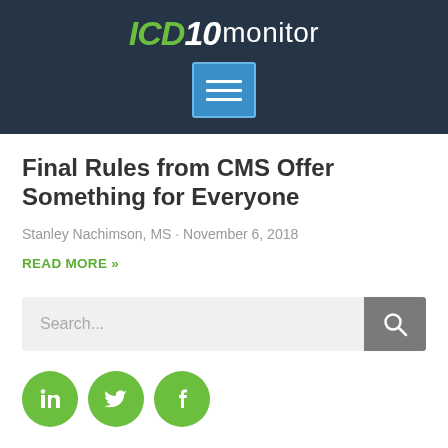ICD10monitor
Final Rules from CMS Offer Something for Everyone
Stanley Nachimson, MS · November 6, 2018
READ MORE »
[Figure (screenshot): Search bar with text placeholder 'Search...' and a gray search button with magnifying glass icon]
[Figure (infographic): Three green circular social media icons: LinkedIn, Twitter, Facebook]